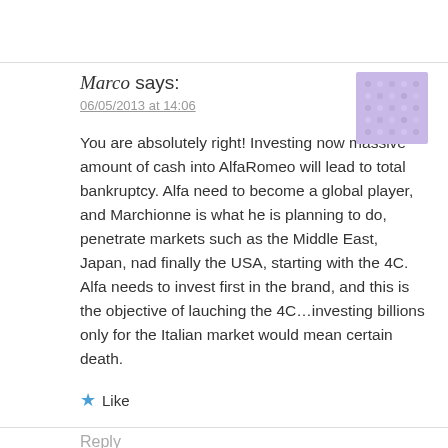Marco says:
06/05/2013 at 14:06
You are absolutely right! Investing now massive amount of cash into AlfaRomeo will lead to total bankruptcy. Alfa need to become a global player, and Marchionne is what he is planning to do, penetrate markets such as the Middle East, Japan, nad finally the USA, starting with the 4C. Alfa needs to invest first in the brand, and this is the objective of lauching the 4C…investing billions only for the Italian market would mean certain death.
★ Like
Reply